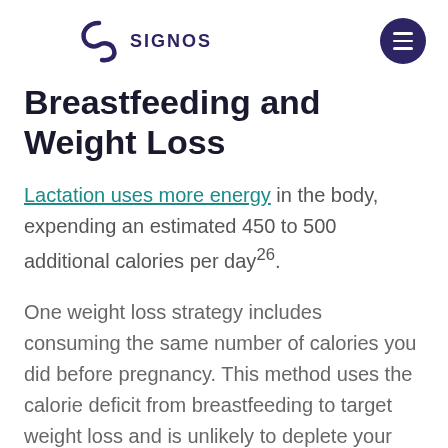SIGNOS
Breastfeeding and Weight Loss
Lactation uses more energy in the body, expending an estimated 450 to 500 additional calories per day26.
One weight loss strategy includes consuming the same number of calories you did before pregnancy. This method uses the calorie deficit from breastfeeding to target weight loss and is unlikely to deplete your milk